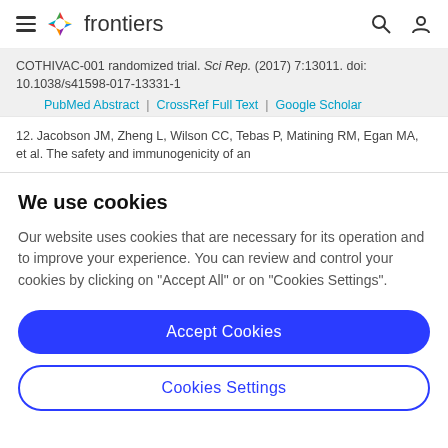frontiers
COTHIVAC-001 randomized trial. Sci Rep. (2017) 7:13011. doi: 10.1038/s41598-017-13331-1
PubMed Abstract | CrossRef Full Text | Google Scholar
12. Jacobson JM, Zheng L, Wilson CC, Tebas P, Matining RM, Egan MA, et al. The safety and immunogenicity of an
We use cookies
Our website uses cookies that are necessary for its operation and to improve your experience. You can review and control your cookies by clicking on "Accept All" or on "Cookies Settings".
Accept Cookies
Cookies Settings